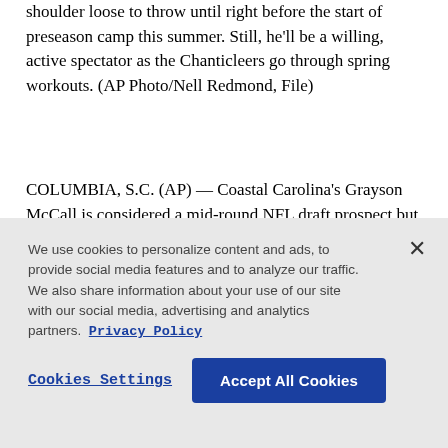shoulder loose to throw until right before the start of preseason camp this summer. Still, he'll be a willing, active spectator as the Chanticleers go through spring workouts. (AP Photo/Nell Redmond, File)
COLUMBIA, S.C. (AP) — Coastal Carolina's Grayson McCall is considered a mid-round NFL draft prospect but the quarterback who passed on transferring to a Power Five school won't throw a football for months as he rehabs an upper body injury.
We use cookies to personalize content and ads, to provide social media features and to analyze our traffic. We also share information about your use of our site with our social media, advertising and analytics partners. Privacy Policy
Cookies Settings  Accept All Cookies